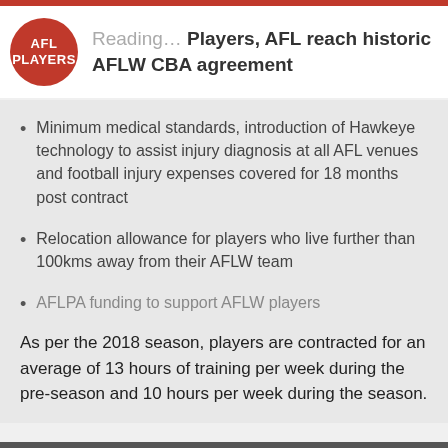Reading… Players, AFL reach historic AFLW CBA agreement
Minimum medical standards, introduction of Hawkeye technology to assist injury diagnosis at all AFL venues and football injury expenses covered for 18 months post contract
Relocation allowance for players who live further than 100kms away from their AFLW team
AFLPA funding to support AFLW players
As per the 2018 season, players are contracted for an average of 13 hours of training per week during the pre-season and 10 hours per week during the season.